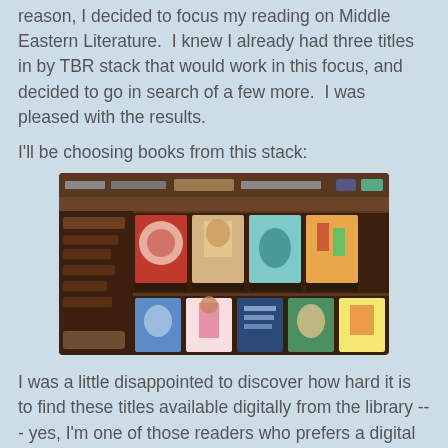reason, I decided to focus my reading on Middle Eastern Literature.  I knew I already had three titles in by TBR stack that would work in this focus, and decided to go in search of a few more.  I was pleased with the results.
I'll be choosing books from this stack:
[Figure (screenshot): Screenshot of a digital bookshelf application showing two rows of Middle Eastern Literature book covers with star ratings, a sidebar with reading categories, and a dark brown wood-themed interface.]
I was a little disappointed to discover how hard it is to find these titles available digitally from the library --- yes, I'm one of those readers who prefers a digital copy (my apologies to book lovers).  I'm going to add to the movement #WeNeedMoreDiverseBooks---Digitally!
Last year I read 14 of 48 hours.  My goal is to try to surpass that time which may be tricky, but I am going to give it a try.